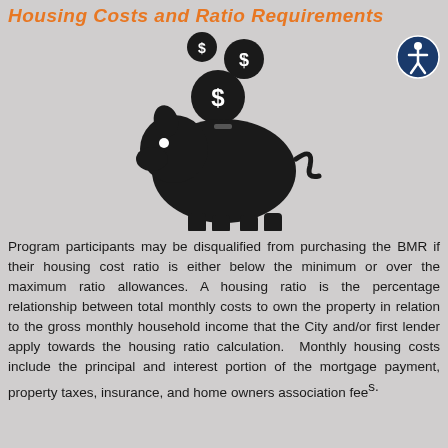Housing Costs and Ratio Requirements
[Figure (illustration): Black silhouette piggy bank with three dollar-sign coins falling into it, on a light gray background]
Program participants may be disqualified from purchasing the BMR if their housing cost ratio is either below the minimum or over the maximum ratio allowances. A housing ratio is the percentage relationship between total monthly costs to own the property in relation to the gross monthly household income that the City and/or first lender apply towards the housing ratio calculation.  Monthly housing costs include the principal and interest portion of the mortgage payment, property taxes, insurance, and home owners association fees.